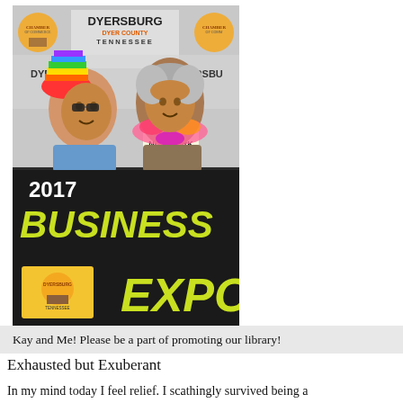[Figure (photo): Photo of two women at the 2017 Business Expo event booth. Background shows Dyersburg Dyer County Tennessee Chamber of Commerce banner. One woman holds a 'Live From New York' sign and wears a rainbow hat. The other wears a colorful lei. Bottom portion shows black background with '2017 BUSINESS EXPO' in large yellow-green text, and the Dyersburg Chamber of Commerce logo.]
Kay and Me! Please be a part of promoting our library!
Exhausted but Exuberant
In my mind today I feel relief. I scathingly survived being a representative of our local library in Dyersburg, Tennessee, participating